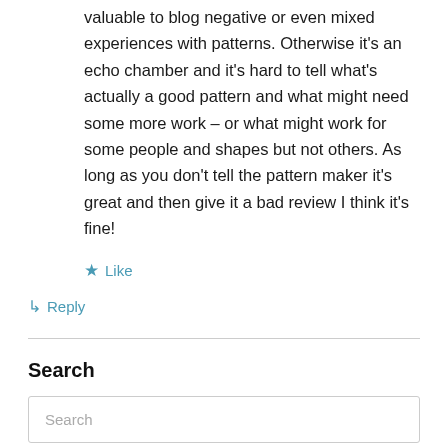valuable to blog negative or even mixed experiences with patterns. Otherwise it's an echo chamber and it's hard to tell what's actually a good pattern and what might need some more work – or what might work for some people and shapes but not others. As long as you don't tell the pattern maker it's great and then give it a bad review I think it's fine!
★ Like
↳ Reply
Search
Search